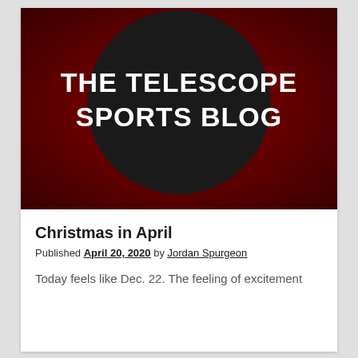[Figure (illustration): The Telescope Sports Blog logo: dark red background with a large black circle in the center containing white bold text reading 'THE TELESCOPE SPORTS BLOG']
Christmas in April
Published April 20, 2020 by Jordan Spurgeon
Today feels like Dec. 22. The feeling of excitement